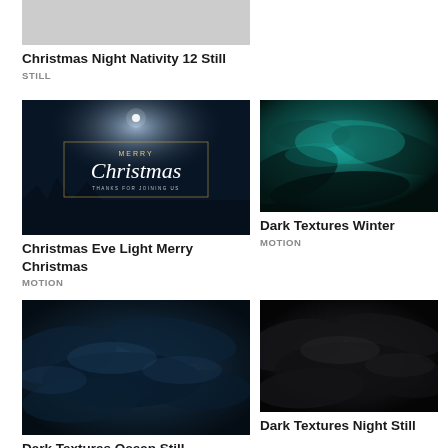[Figure (photo): Cropped gray thumbnail image at top]
Christmas Night Nativity 12 Still
STILL
[Figure (photo): Christmas Eve Light Merry Christmas thumbnail — dark blue night scene with 'Merry Christmas' text and star]
Christmas Eve Light Merry Christmas
MOTION
[Figure (photo): Dark Textures Winter thumbnail — dark teal textured swirling abstract]
Dark Textures Winter
MOTION
[Figure (photo): Dark Textures Ocean Still thumbnail — dark blue-gray cloudy ocean texture]
Dark Textures Ocean Still
[Figure (photo): Dark Textures Night Still thumbnail — very dark charcoal cloud texture]
Dark Textures Night Still